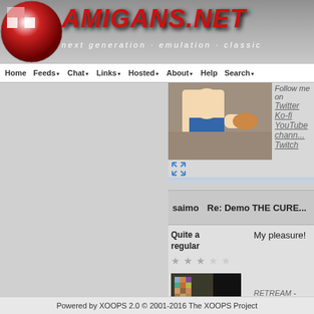AMIGANS.NET - next generation · emulation · classic
Home Feeds Chat Links Hosted About Help Search
[Figure (screenshot): Animated character image, partially visible cartoon figure flexing]
Follow me on Twitter Ko-fi YouTube chann... Twitch
[Figure (other): Expand/fullscreen icon (blue arrows)]
| saimo | Re: Demo THE CURE |
| --- | --- |
Quite a regular
[Figure (other): Star rating: 2 out of 5 stars (grey stars)]
[Figure (photo): User avatar photo - pixelated portrait of a person]
My pleasure!
RETREAM - retro drea... Commodore 64 and P...
[Figure (other): Expand/fullscreen icon (blue arrows)]
Powered by XOOPS 2.0 © 2001-2016 The XOOPS Project